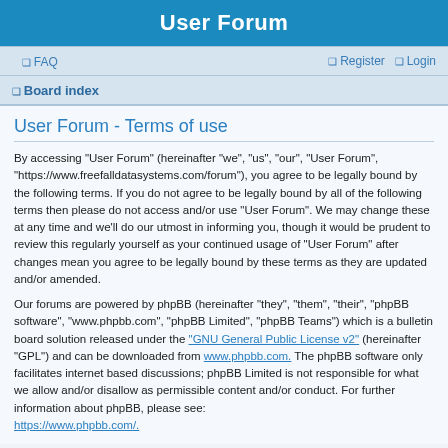User Forum
❑ FAQ   ❑ Register  ❑ Login
❑ Board index
User Forum - Terms of use
By accessing “User Forum” (hereinafter “we”, “us”, “our”, “User Forum”, “https://www.freefalldatasystems.com/forum”), you agree to be legally bound by the following terms. If you do not agree to be legally bound by all of the following terms then please do not access and/or use “User Forum”. We may change these at any time and we’ll do our utmost in informing you, though it would be prudent to review this regularly yourself as your continued usage of “User Forum” after changes mean you agree to be legally bound by these terms as they are updated and/or amended.
Our forums are powered by phpBB (hereinafter “they”, “them”, “their”, “phpBB software”, “www.phpbb.com”, “phpBB Limited”, “phpBB Teams”) which is a bulletin board solution released under the “GNU General Public License v2” (hereinafter “GPL”) and can be downloaded from www.phpbb.com. The phpBB software only facilitates internet based discussions; phpBB Limited is not responsible for what we allow and/or disallow as permissible content and/or conduct. For further information about phpBB, please see: https://www.phpbb.com/.